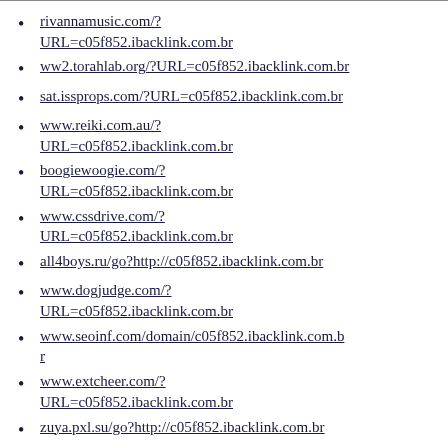rivannamusic.com/?URL=c05f852.ibacklink.com.br
ww2.torahlab.org/?URL=c05f852.ibacklink.com.br
sat.issprops.com/?URL=c05f852.ibacklink.com.br
www.reiki.com.au/?URL=c05f852.ibacklink.com.br
boogiewoogie.com/?URL=c05f852.ibacklink.com.br
www.cssdrive.com/?URL=c05f852.ibacklink.com.br
all4boys.ru/go?http://c05f852.ibacklink.com.br
www.dogjudge.com/?URL=c05f852.ibacklink.com.br
www.seoinf.com/domain/c05f852.ibacklink.com.br
www.extcheer.com/?URL=c05f852.ibacklink.com.br
zuya.pxl.su/go?http://c05f852.ibacklink.com.br
www.dorf.net/redirect/c05f852.ibacklink.com.br